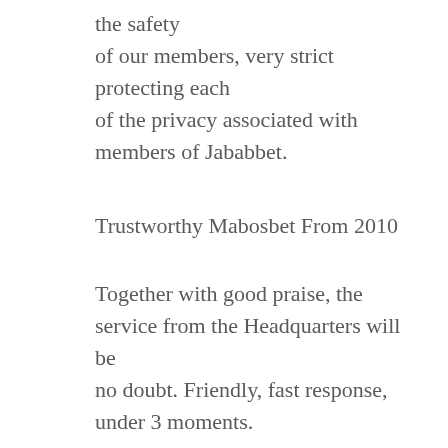the safety of our members, very strict protecting each of the privacy associated with members of Jababbet.
Trustworthy Mabosbet From 2010
Together with good praise, the service from the Headquarters will be no doubt. Friendly, fast response, under 3 moments.